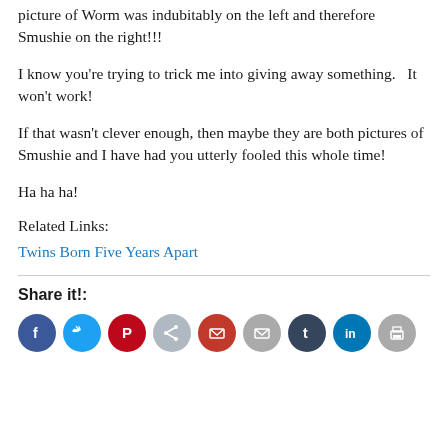picture of Worm was indubitably on the left and therefore Smushie on the right!!!
I know you're trying to trick me into giving away something.   It won't work!
If that wasn't clever enough, then maybe they are both pictures of Smushie and I have had you utterly fooled this whole time!
Ha ha ha!
Related Links:
Twins Born Five Years Apart
Share it!:
[Figure (infographic): Row of social media sharing icon circles: Facebook (blue), Twitter (light blue), Pinterest (red), share (gray), email (red), envelope (gray), Tumblr (dark blue), LinkedIn (blue), print (gray)]